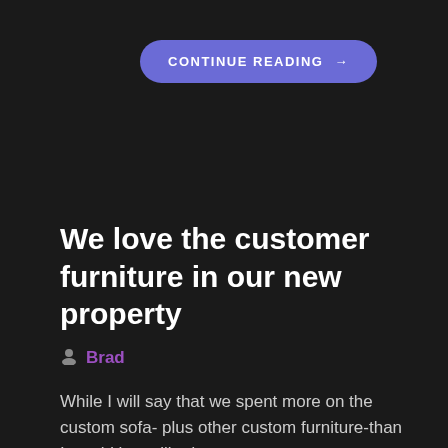CONTINUE READING →
We love the customer furniture in our new property
Brad
While I will say that we spent more on the custom sofa- plus other custom furniture-than I would have liked,...